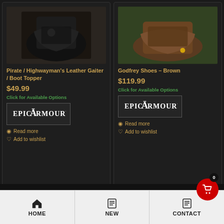[Figure (photo): Black leather pirate/highwayman boot topper gaiter on rocky ground]
Pirate / Highwayman's Leather Gaiter / Boot Topper
$49.99
Click for Available Options
[Figure (logo): Epic Armoury brand logo in bordered box]
Read more
Add to wishlist
[Figure (photo): Brown leather Godfrey shoes on grass]
Godfrey Shoes – Brown
$119.99
Click for Available Options
[Figure (logo): Epic Armoury brand logo in bordered box]
Read more
Add to wishlist
HOME | NEW | CONTACT